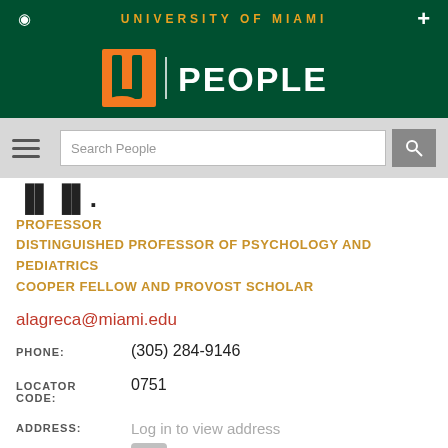UNIVERSITY OF MIAMI
[Figure (logo): University of Miami 'U' logo in orange with PEOPLE text in white, on dark green background]
Search People
PROFESSOR
DISTINGUISHED PROFESSOR OF PSYCHOLOGY AND PEDIATRICS
COOPER FELLOW AND PROVOST SCHOLAR
alagreca@miami.edu
PHONE: (305) 284-9146
LOCATOR CODE: 0751
ADDRESS: Log in to view address